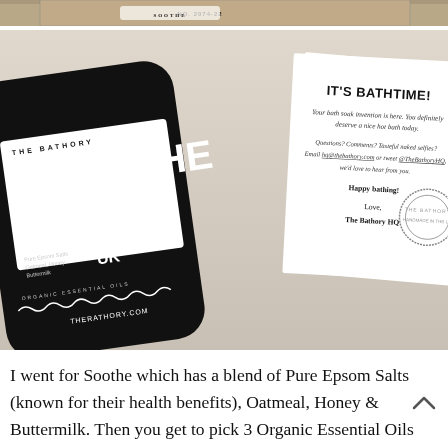[Figure (photo): Partial view of a dark product box or packaging at the top of the page]
[Figure (photo): Photo of The Bathory 'Soothe' bath soak bottle (black bottle with white label) alongside a white card reading 'IT'S BATHTIME!' with text about the product, a stamp logo, and a sign-off from The Bathory HQ]
I went for Soothe which has a blend of Pure Epsom Salts (known for their health benefits), Oatmeal, Honey & Buttermilk. Then you get to pick 3 Organic Essential Oils so I added Bergamot,